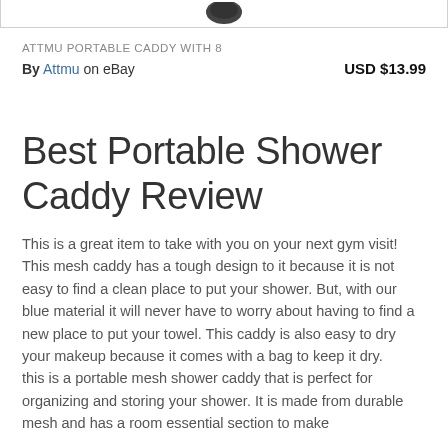[Figure (photo): Top portion of a product image showing a dark object on white background, partially cropped, inside a bordered box]
ATTMU PORTABLE CADDY WITH 8
By Attmu on eBay    USD $13.99
Best Portable Shower Caddy Review
This is a great item to take with you on your next gym visit! This mesh caddy has a tough design to it because it is not easy to find a clean place to put your shower. But, with our blue material it will never have to worry about having to find a new place to put your towel. This caddy is also easy to dry your makeup because it comes with a bag to keep it dry.
this is a portable mesh shower caddy that is perfect for organizing and storing your shower. It is made from durable mesh and has a room essential section to make